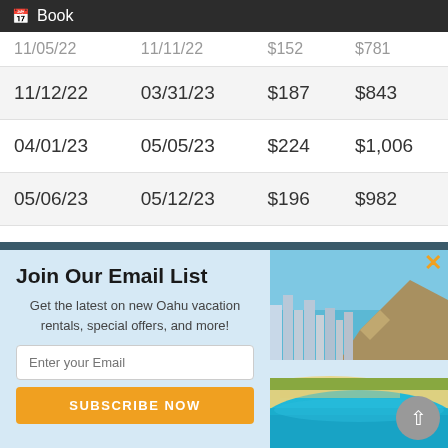Book
|  |  |  |  |
| --- | --- | --- | --- |
| 11/05/22 | 11/11/22 | $152 | $781 |
| 11/12/22 | 03/31/23 | $187 | $843 |
| 04/01/23 | 05/05/23 | $224 | $1,006 |
| 05/06/23 | 05/12/23 | $196 | $982 |
| 05/13/23 | 05/26/23 | $233 | $1,164 |
Join Our Email List
Get the latest on new Oahu vacation rentals, special offers, and more!
[Figure (photo): Aerial photo of Waikiki Beach with Diamond Head mountain, turquoise water, beach, and city skyline]